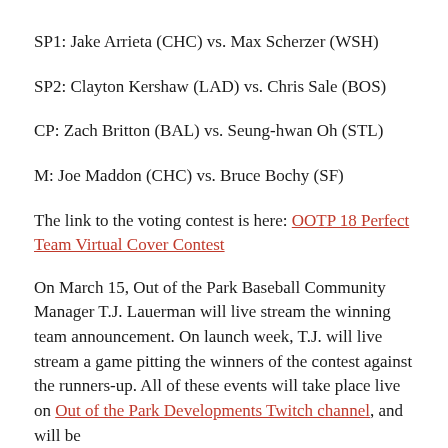SP1: Jake Arrieta (CHC) vs. Max Scherzer (WSH)
SP2: Clayton Kershaw (LAD) vs. Chris Sale (BOS)
CP: Zach Britton (BAL) vs. Seung-hwan Oh (STL)
M: Joe Maddon (CHC) vs. Bruce Bochy (SF)
The link to the voting contest is here: OOTP 18 Perfect Team Virtual Cover Contest
On March 15, Out of the Park Baseball Community Manager T.J. Lauerman will live stream the winning team announcement. On launch week, T.J. will live stream a game pitting the winners of the contest against the runners-up. All of these events will take place live on Out of the Park Developments Twitch channel, and will be